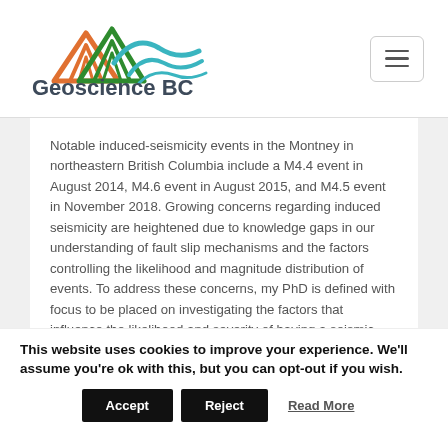[Figure (logo): Geoscience BC logo with mountain graphic in orange, green, and teal colors, and bold text 'Geoscience BC' below]
Notable induced-seismicity events in the Montney in northeastern British Columbia include a M4.4 event in August 2014, M4.6 event in August 2015, and M4.5 event in November 2018. Growing concerns regarding induced seismicity are heightened due to knowledge gaps in our understanding of fault slip mechanisms and the factors controlling the likelihood and magnitude distribution of events. To address these concerns, my PhD is defined with focus to be placed on investigating the factors that influence the likelihood and severity of having a seismic event of a given magnitude. Towards this goal, I will be using state-of-the-art laboratory experiments and numerical modelling, with further constraints being provided by empirical field data.
This website uses cookies to improve your experience. We'll assume you're ok with this, but you can opt-out if you wish. Accept Reject Read More